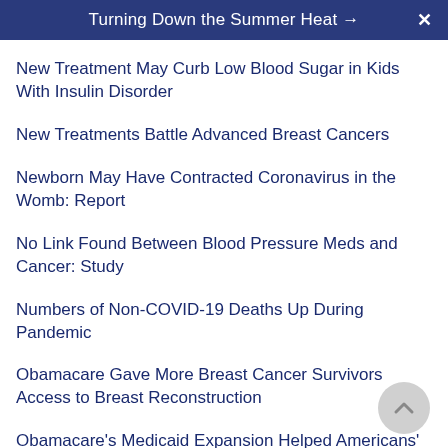Turning Down the Summer Heat →
New Treatment May Curb Low Blood Sugar in Kids With Insulin Disorder
New Treatments Battle Advanced Breast Cancers
Newborn May Have Contracted Coronavirus in the Womb: Report
No Link Found Between Blood Pressure Meds and Cancer: Study
Numbers of Non-COVID-19 Deaths Up During Pandemic
Obamacare Gave More Breast Cancer Survivors Access to Breast Reconstruction
Obamacare's Medicaid Expansion Helped Americans' Blood Pressure
Obesity Helps Drive Half of New Diabetes Cases Among Americans
Obesity May Help Trigger Heavier Periods: Study